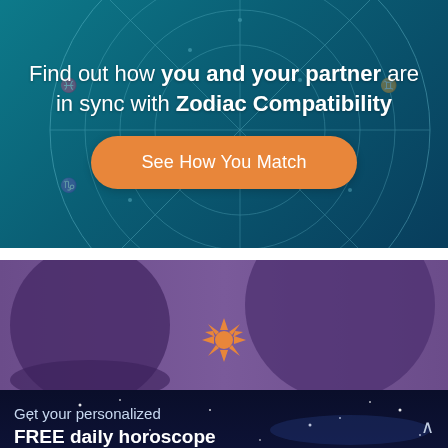[Figure (infographic): Top banner with teal/blue zodiac wheel background and orange CTA button]
Find out how you and your partner are in sync with Zodiac Compatibility
See How You Match
[Figure (infographic): Purple banner with two globe/planet images and an orange sun icon, over a night sky background]
Get your personalized FREE daily horoscope